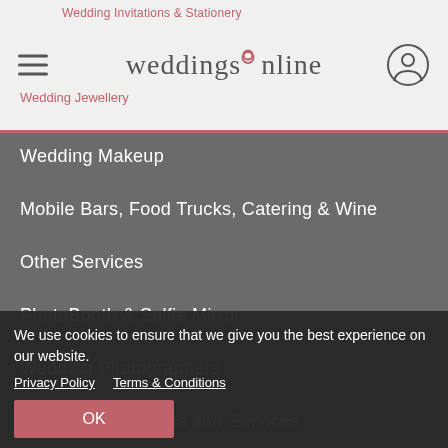weddingsonline
Wedding Invitations & Stationery
Wedding Jewellery
Wedding Makeup
Mobile Bars, Food Trucks, Catering & Wine
Other Services
PhotoBooth & Selfie Mirror
Wedding Photographers
Photo Apps, Albums and Services
Wedding Planners
Pre Marriage Courses
Wedding Speeches
We use cookies to ensure that we give you the best experience on our website.
Privacy Policy   Terms & Conditions
OK